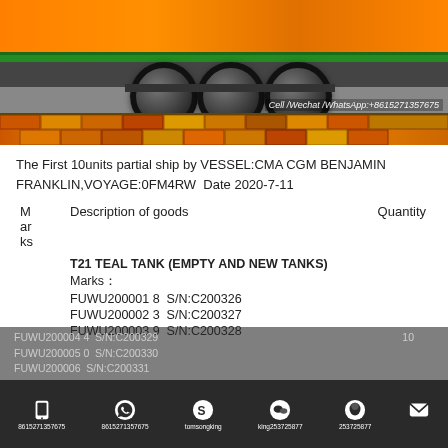[Figure (photo): Photo of a flatbed trailer/semi-truck loaded with green and orange flatbed platform, large truck tires visible, colorful brick ground beneath. Watermark text: Cell /Wechat /WhatsApp:+8615271357675]
The First 10units partial ship by VESSEL:CMA CGM BENJAMIN FRANKLIN,VOYAGE:0FM4RW  Date 2020-7-11
| M
ar
ks | Description of goods | Quantity |
| --- | --- | --- |
|  | T21 TEAL TANK (EMPTY AND NEW TANKS) |  |
|  | Marks： |  |
|  | FUWU200001 8  S/N:C200326 |  |
|  | FUWU200002 3  S/N:C200327 |  |
|  | FUWU200003 9  S/N:C200328 |  |
|  | FUWU200004 4  S/N:C200329 | 10 |
|  | FUWU200005 0  S/N:C200330 |  |
|  | FUWU200006  S/N:C200331 |  |
8615271357675  8615271357675  tomsongking  king253725877  253725877